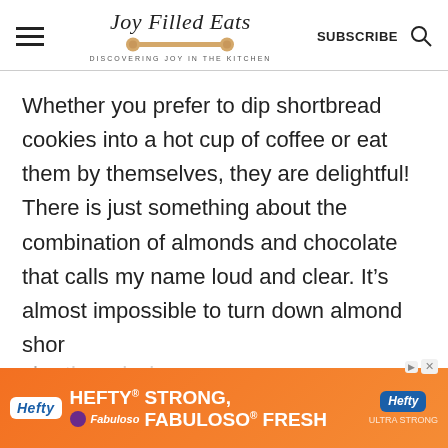Joy Filled Eats — DISCOVERING JOY IN THE KITCHEN — SUBSCRIBE
Whether you prefer to dip shortbread cookies into a hot cup of coffee or eat them by themselves, they are delightful! There is just something about the combination of almonds and chocolate that calls my name loud and clear. It's almost impossible to turn down almond shor[thand...] they[...]
[Figure (advertisement): Hefty ad — HEFTY STRONG, FABULOSO FRESH — orange background with Hefty and Fabuloso logos]